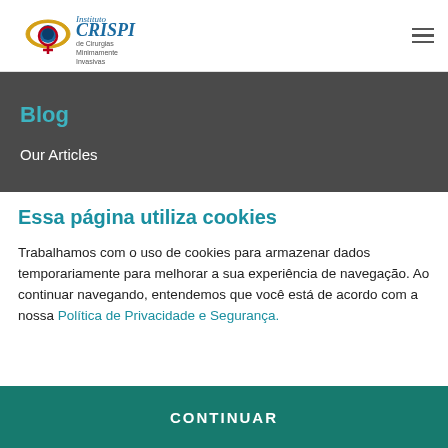[Figure (logo): Instituto CRISPI de Cirurgias Minimamente Invasivas logo with eye and female symbol]
Blog
Our Articles
Essa página utiliza cookies
Trabalhamos com o uso de cookies para armazenar dados temporariamente para melhorar a sua experiência de navegação. Ao continuar navegando, entendemos que você está de acordo com a nossa Política de Privacidade e Segurança.
CONTINUAR